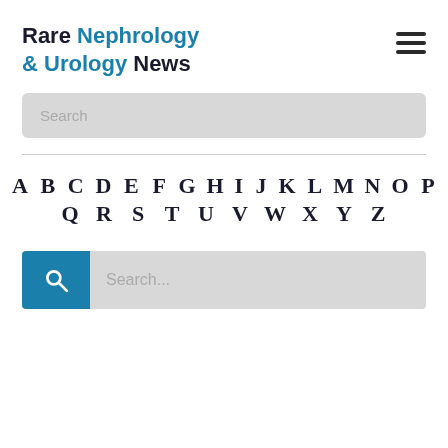Rare Nephrology & Urology News
A B C D E F G H I J K L M N O P Q R S T U V W X Y Z